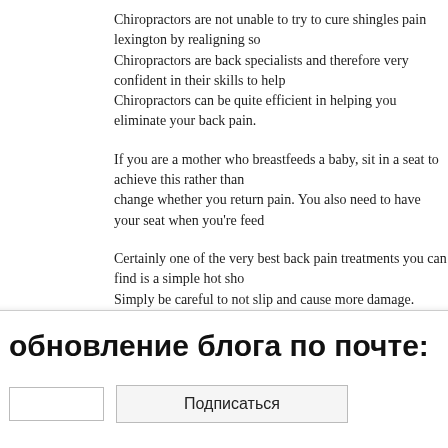Chiropractors are not unable to try to cure shingles pain lexington by realigning so... Chiropractors are back specialists and therefore very confident in their skills to help... Chiropractors can be quite efficient in helping you eliminate your back pain.
If you are a mother who breastfeeds a baby, sit in a seat to achieve this rather than... change whether you return pain. You also need to have your seat when you're feed...
Certainly one of the very best back pain treatments you can find is a simple hot sho... Simply be careful to not slip and cause more damage.
In conclusion, many individuals suffer from back pain, as they have to deal with age... lives and doing tasks that are regular. The tips in this article above will help anyone... lives.
How To Cure Plantar Fasciitis Advice That You Can
Heel pain is an extremely common issue for people. Knowing as much as possible... ce the symptom...
...ot be just like n...
...one eating a m... ced, in turn, p...
[Figure (other): Modal/popup overlay with Russian text 'обновление блога по почте:' (blog update by email), a text input field, a 'Подписаться' (Subscribe) button, and a close [X] button.]